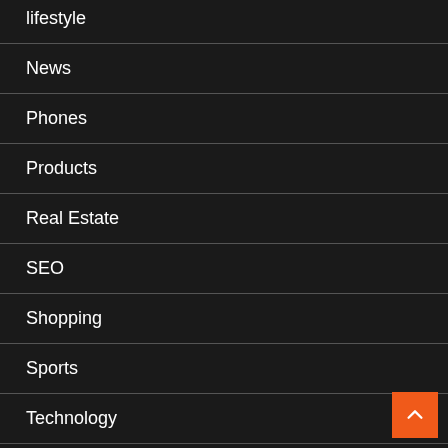lifestyle
News
Phones
Products
Real Estate
SEO
Shopping
Sports
Technology
Tours